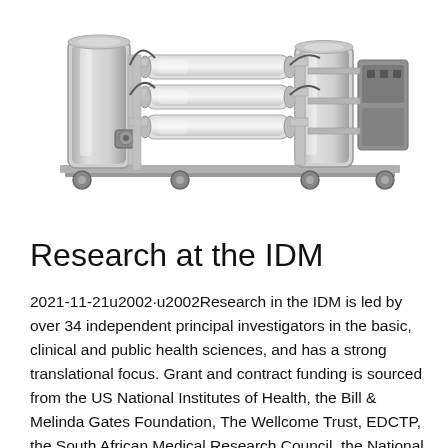[Figure (photo): Industrial water purification / reverse osmosis machine with stainless steel tanks, pipes, filters, and wheels on a metal frame]
Research at the IDM
2021-11-21u2002·u2002Research in the IDM is led by over 34 independent principal investigators in the basic, clinical and public health sciences, and has a strong translational focus. Grant and contract funding is sourced from the US National Institutes of Health, the Bill & Melinda Gates Foundation, The Wellcome Trust, EDCTP, the South African Medical Research Council, the National Research